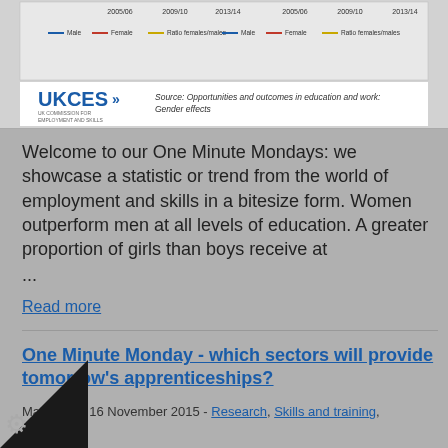[Figure (screenshot): Cropped chart image showing two line charts with legends for Male, Female, and Ratio females/males, with x-axis years 2005/06, 2009/10, 2013/14. Below is a UKCES logo and source citation.]
Welcome to our One Minute Mondays: we showcase a statistic or trend from the world of employment and skills in a bitesize form. Women outperform men at all levels of education. A greater proportion of girls than boys receive at ...
Read more
One Minute Monday - which sectors will provide tomorrow's apprenticeships?
Maksymiw, 16 November 2015 - Research, Skills and training, nal training